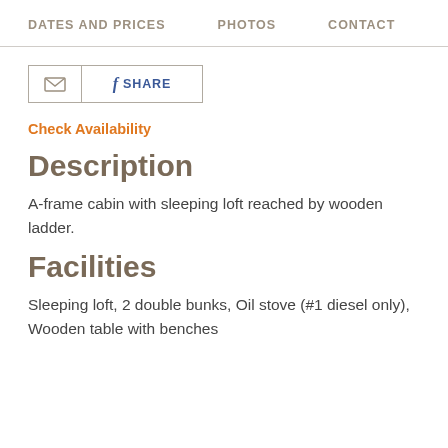DATES AND PRICES   PHOTOS   CONTACT
[Figure (other): Email icon button and Facebook Share button side by side in a bordered rectangle]
Check Availability
Description
A-frame cabin with sleeping loft reached by wooden ladder.
Facilities
Sleeping loft, 2 double bunks, Oil stove (#1 diesel only), Wooden table with benches